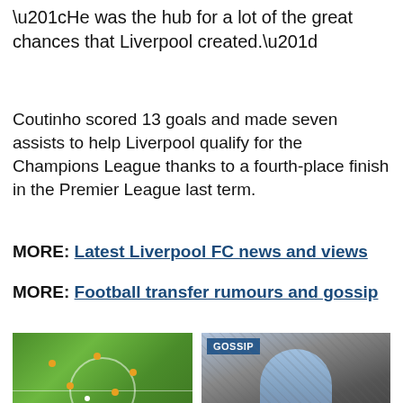“He was the hub for a lot of the great chances that Liverpool created.”
Coutinho scored 13 goals and made seven assists to help Liverpool qualify for the Champions League thanks to a fourth-place finish in the Premier League last term.
MORE: Latest Liverpool FC news and views
MORE: Football transfer rumours and gossip
[Figure (photo): Aerial/tactical view of a football pitch with players in formation]
Liverpool's Raheem Sterling
[Figure (photo): Photo of a young blonde footballer in a light blue shirt running, with GOSSIP badge overlay]